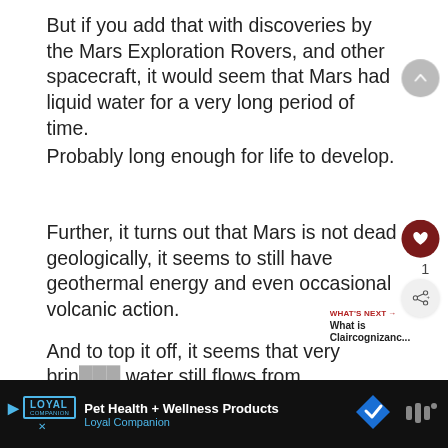But if you add that with discoveries by the Mars Exploration Rovers, and other spacecraft, it would seem that Mars had liquid water for a very long period of time.
Probably long enough for life to develop.
Further, it turns out that Mars is not dead geologically, it seems to still have geothermal energy and even occasional volcanic action.
And to top it off, it seems that very brin... water still flows from aquifers on the planet, and sticks around just long enough to make a salty
Pet Health + Wellness Products  Loyal Companion